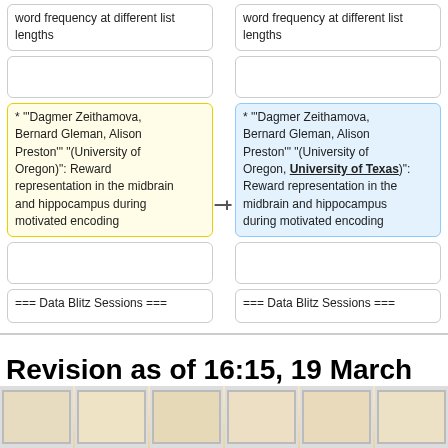word frequency at different list lengths
word frequency at different list lengths
* '"Dagmer Zeithamova, Bernard Gleman, Alison Preston'" "(University of Oregon)": Reward representation in the midbrain and hippocampus during motivated encoding
* '"Dagmer Zeithamova, Bernard Gleman, Alison Preston'" "(University of Oregon, University of Texas)": Reward representation in the midbrain and hippocampus during motivated encoding
=== Data Blitz Sessions ===
=== Data Blitz Sessions ===
Revision as of 16:15, 19 March 2015
[Figure (photo): Strip of framed artwork/photos at bottom of page]